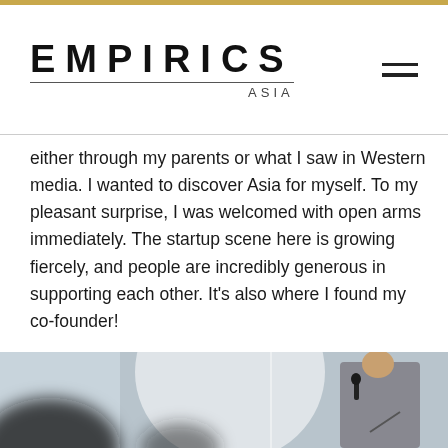EMPIRICS ASIA
either through my parents or what I saw in Western media. I wanted to discover Asia for myself. To my pleasant surprise, I was welcomed with open arms immediately. The startup scene here is growing fiercely, and people are incredibly generous in supporting each other. It's also where I found my co-founder!
[Figure (photo): A young man speaking into a microphone at a startup event, with a blurred foreground figure and a large spotlight circle on the wall behind him. The setting appears to be an indoor presentation or pitch event.]